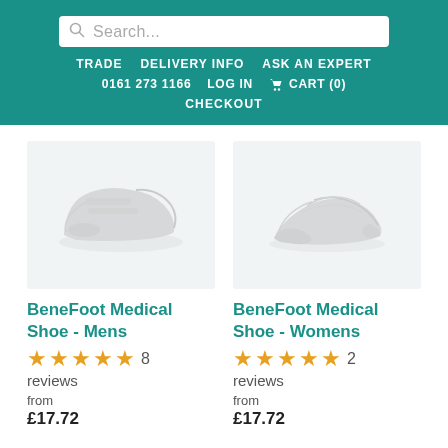Search... | TRADE | DELIVERY INFO | ASK AN EXPERT | 0161 273 1166 | LOG IN | CART (0) | CHECKOUT
[Figure (photo): BeneFoot Medical Shoe - Mens product image, grey shoe on light blue-grey background]
BeneFoot Medical Shoe - Mens
★★★★★ 8 reviews
from £17.72
[Figure (photo): BeneFoot Medical Shoe - Womens product image, grey sandal on light blue-grey background]
BeneFoot Medical Shoe - Womens
★★★★★ 2 reviews
from £17.72